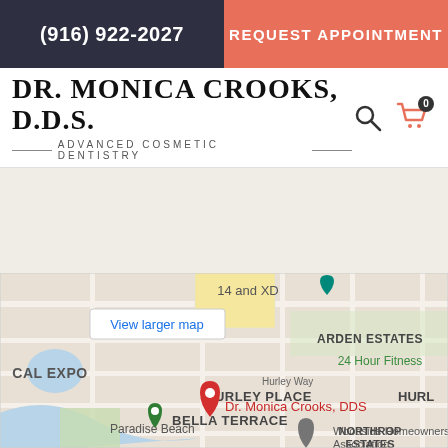(916) 922-2027
REQUEST APPOINTMENT
DR. MONICA CROOKS, D.D.S.
ADVANCED COSMETIC DENTISTRY
[Figure (map): Google Maps embed showing location of Dr. Monica Crooks, DDS near HURLEY PLACE, BELLA TERRACE, NORTHROP ESTATES, CAL EXPO, Paradise Beach areas in Sacramento, CA. Red pin marks the office location with label 'Dr. Monica Crooks, DDS'. Also shows 24 Hour Fitness, Woodside Homeowners Association, Arden Estates, and View larger map button.]